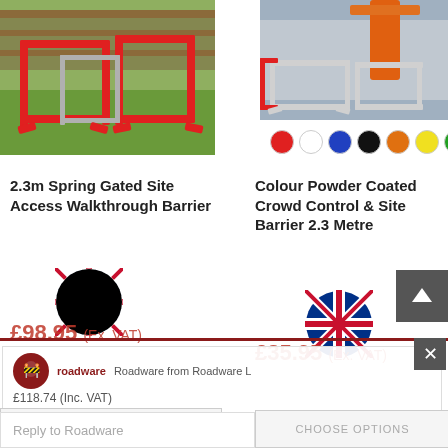[Figure (photo): Red spring gated site access walkthrough barrier standing on grass with wooden fence in background]
[Figure (photo): Colour powder coated crowd control site barriers at a construction site, with orange crane in background]
[Figure (illustration): Seven colour swatches as circles: red, white, blue, black, orange, yellow, green]
2.3m Spring Gated Site Access Walkthrough Barrier
Colour Powder Coated Crowd Control & Site Barrier 2.3 Metre
[Figure (illustration): UK Union Jack flag circle icon]
[Figure (illustration): UK Union Jack flag circle icon]
£98.95 (Ex. VAT)
£35.95 (Ex. VAT)
Roadware from Roadware L
£118.74 (Inc. VAT)
Hi there! So we're away right now, but if you leave us a message we'll get back to you soon.
CHOOSE OPTIONS
Reply to Roadware
CHOOSE OPTIONS